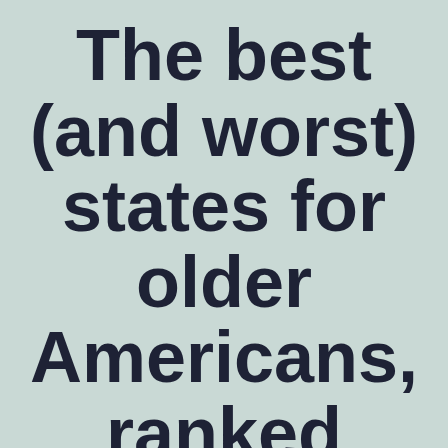The best (and worst) states for older Americans, ranked
[/et_pb_text][/et_pb_column][/et_pb_row]
[et_pb_row _builder_version="4.0.9"]
[et_pb_column type="4_4"